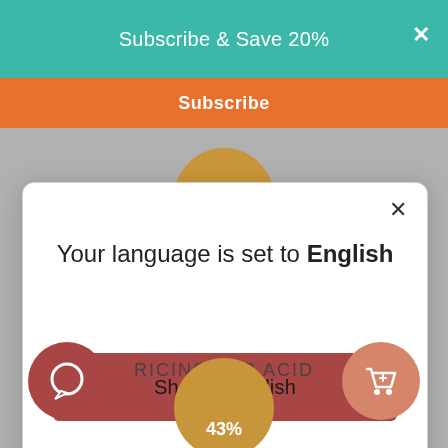Subscribe & Save 20%
Subscribe
[Figure (screenshot): Language selection modal dialog with text 'Your language is set to English', a 'Shop in English' button, and a 'Change language' link]
RICINOLEIC ACID
43%